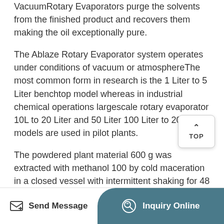VacuumRotary Evaporators purge the solvents from the finished product and recovers them making the oil exceptionally pure.
The Ablaze Rotary Evaporator system operates under conditions of vacuum or atmosphereThe most common form in research is the 1 Liter to 5 Liter benchtop model whereas in industrial chemical operations largescale rotary evaporator 10L to 20 Liter and 50 Liter 100 Liter to 200 Liter models are used in pilot plants.
The powdered plant material 600 g was extracted with methanol 100 by cold maceration in a closed vessel with intermittent shaking for 48 hThe extract was filtered and concentrated in a rotary evaporator under reduced pressure 4050 to obtain 81
Send Message  |  Inquiry Online